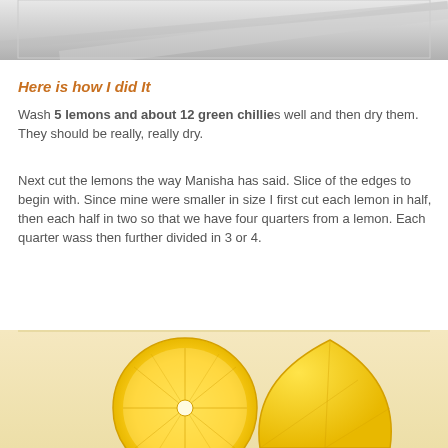[Figure (photo): Partial photo at top of page showing a blurred grey/silver surface]
Here is how I did It
Wash 5 lemons and about 12 green chillies well and then dry them. They should be really, really dry.
Next cut the lemons the way Manisha has said. Slice of the edges to begin with. Since mine were smaller in size I first cut each lemon in half, then each half in two so that we have four quarters from a lemon. Each quarter wass then further divided in 3 or 4.
[Figure (photo): Photo of lemon slices/quarters on a light surface — bright yellow lemons, one cut in half and one in a wedge]